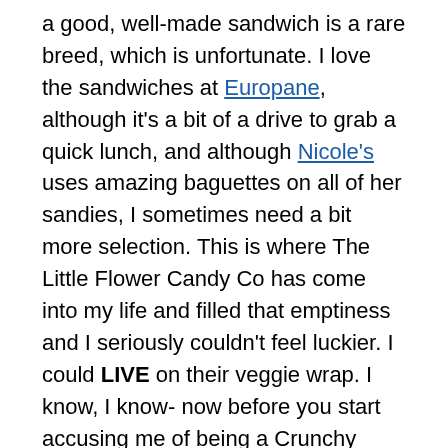a good, well-made sandwich is a rare breed, which is unfortunate. I love the sandwiches at Europane, although it's a bit of a drive to grab a quick lunch, and although Nicole's uses amazing baguettes on all of her sandies, I sometimes need a bit more selection. This is where The Little Flower Candy Co has come into my life and filled that emptiness and I seriously couldn't feel luckier. I could LIVE on their veggie wrap. I know, I know- now before you start accusing me of being a Crunchy Granola Hippie, I gotta tell ya- this wrap is so good it'd satisfy any meat eater, myself included. I don't order it because its veggie- I order it because I NEED it. Crave it. Require it. It's no longer a want, it's a habit. The elements couldn't be simpler- a nice, large whole wheat tortilla blankets a garlicky green hummus, fresh cherry tomatoes, crisp English cucumber, shredded carrots, lettuce and a mound of warm, tender brown rice. The warmth of the rice is KEY- no one wants to eat a burrito full of cold rice- and it just wakes up the garlic in the hummus which